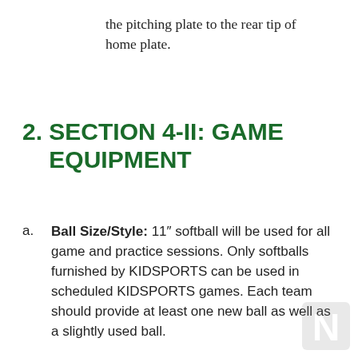the pitching plate to the rear tip of home plate.
2. SECTION 4-II: GAME EQUIPMENT
a. Ball Size/Style: 11" softball will be used for all game and practice sessions. Only softballs furnished by KIDSPORTS can be used in scheduled KIDSPORTS games. Each team should provide at least one new ball as well as a slightly used ball.